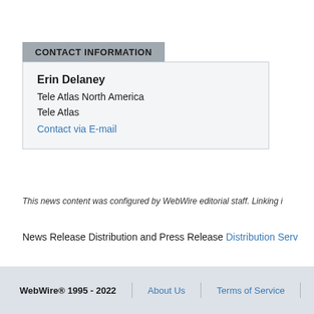CONTACT INFORMATION
Erin Delaney
Tele Atlas North America
Tele Atlas
Contact via E-mail
This news content was configured by WebWire editorial staff. Linking i
News Release Distribution and Press Release Distribution Serv
WebWire® 1995 - 2022 | About Us | Terms of Service | P